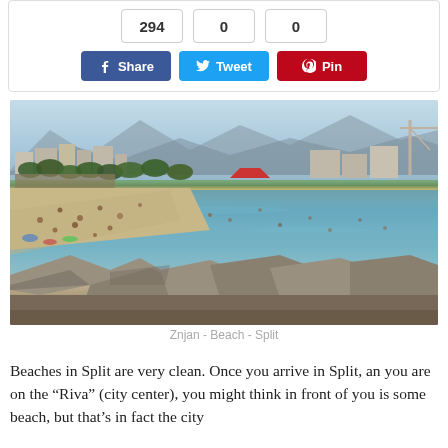[Figure (infographic): Social share widget showing counts 294, 0, 0 and buttons for Facebook Share, Twitter Tweet, and Pinterest Pin]
[Figure (photo): Znjan Beach in Split, Croatia — crowded beach scene with many swimmers and sunbathers, clear turquoise water, rocky foreground, city buildings and mountains in background, construction crane visible on right]
Znjan - Beach - Split
Beaches in Split are very clean. Once you arrive in Split, an you are on the “Riva” (city center), you might think in front of you is some beach, but that’s in fact the city